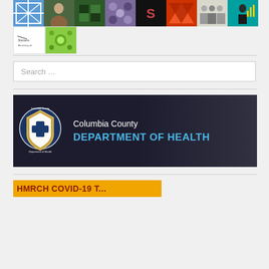[Figure (photo): Grid of thumbnail images including quilts, people, patterns, and logos - two rows of small squares]
[Figure (screenshot): Columbia County Department of Health banner with shield logo and blue/white text on dark background]
[Figure (other): Orange/gold banner partially visible at the bottom of the page with dark red text beginning 'HMRCH COVID-19...']